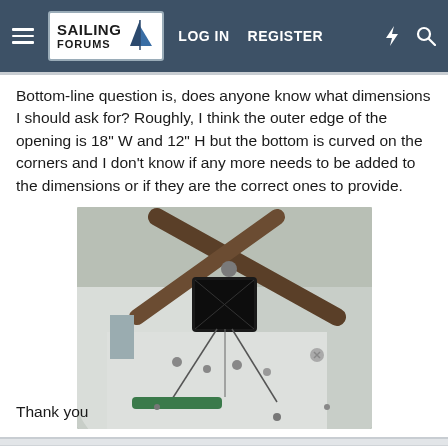Sailing Forums — LOG IN  REGISTER
Bottom-line question is, does anyone know what dimensions I should ask for? Roughly, I think the outer edge of the opening is 18" W and 12" H but the bottom is curved on the corners and I don't know if any more needs to be added to the dimensions or if they are the correct ones to provide.
[Figure (photo): Interior view of a sailboat showing a hatch opening with wooden crossbars, various rigging components, wires, and a green tube visible below.]
Thank you
JUN 30, 2016  #2